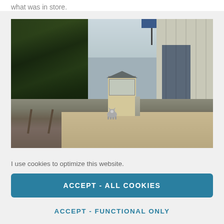what was in store.
[Figure (photo): A railway station platform with train tracks on the left, a signal box building in the centre background, trees on the left side, and a grey/blue modern building on the right. A dog (husky) stands on the platform in the foreground.]
I use cookies to optimize this website.
ACCEPT - ALL COOKIES
ACCEPT - FUNCTIONAL ONLY